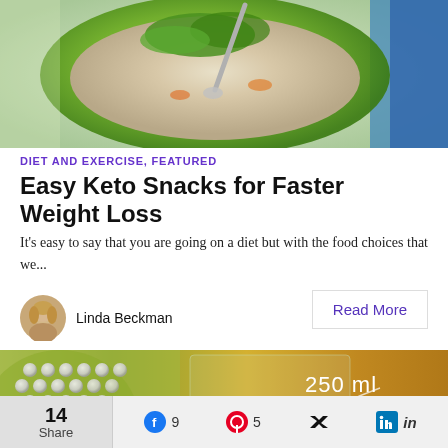[Figure (photo): Top-down photo of a green bowl with soup or porridge, garnished with herbs, with a spoon. Blue dish visible on the right.]
DIET AND EXERCISE, FEATURED
Easy Keto Snacks for Faster Weight Loss
It's easy to say that you are going on a diet but with the food choices that we...
Linda Beckman
Read More
[Figure (photo): Close-up of a measuring beaker/flask showing 250 ml APPROX. marking, with what appears to be pearls or beads and liquid in amber color.]
14 Share   9   5   (social share bar)